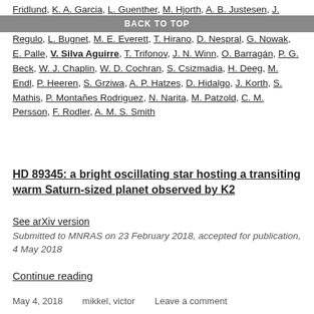Fridlund, K. A. Garcia, L. Guenther, M. Hjorth, A. B. Justesen, J. Livingston, M. N. Lund, F. Pérez Hernández, J. Prieto-Arranz, C. Regulo, L. Bugnet, M. E. Everett, T. Hirano, D. Nespral, G. Nowak, E. Palle, V. Silva Aguirre, T. Trifonov, J. N. Winn, O. Barragán, P. G. Beck, W. J. Chaplin, W. D. Cochran, S. Csizmadia, H. Deeg, M. Endl, P. Heeren, S. Grziwa, A. P. Hatzes, D. Hidalgo, J. Korth, S. Mathis, P. Montañes Rodriguez, N. Narita, M. Patzold, C. M. Persson, F. Rodler, A. M. S. Smith
BACK TO TOP
HD 89345: a bright oscillating star hosting a transiting warm Saturn-sized planet observed by K2
See arXiv version
Submitted to MNRAS on 23 February 2018, accepted for publication, 4 May 2018
Continue reading
May 4, 2018   mikkel, victor   Leave a comment